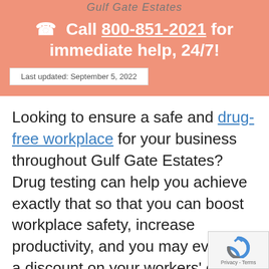Gulf Gate Estates
Call 800-851-2021 for immediate help, 24/7!
Last updated: September 5, 2022
Looking to ensure a safe and drug-free workplace for your business throughout Gulf Gate Estates? Drug testing can help you achieve exactly that so that you can boost workplace safety, increase productivity, and you may even get a discount on your workers' comp insurance. Many sta